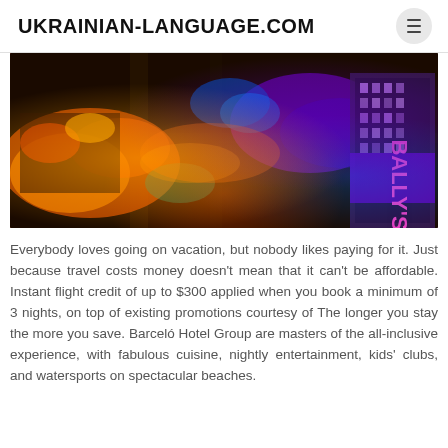UKRAINIAN-LANGUAGE.COM
[Figure (photo): Aerial night view of a city strip (Las Vegas style) with colorful neon lights, orange and purple illumination, tall hotel buildings on the right]
Everybody loves going on vacation, but nobody likes paying for it. Just because travel costs money doesn't mean that it can't be affordable. Instant flight credit of up to $300 applied when you book a minimum of 3 nights, on top of existing promotions courtesy of The longer you stay the more you save. Barceló Hotel Group are masters of the all-inclusive experience, with fabulous cuisine, nightly entertainment, kids' clubs, and watersports on spectacular beaches.